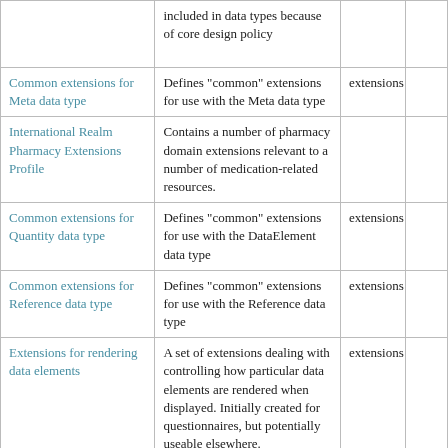|  | included in data types because of core design policy |  |  |
| Common extensions for Meta data type | Defines "common" extensions for use with the Meta data type | extensions |  |
| International Realm Pharmacy Extensions Profile | Contains a number of pharmacy domain extensions relevant to a number of medication-related resources. |  |  |
| Common extensions for Quantity data type | Defines "common" extensions for use with the DataElement data type | extensions |  |
| Common extensions for Reference data type | Defines "common" extensions for use with the Reference data type | extensions |  |
| Extensions for rendering data elements | A set of extensions dealing with controlling how particular data elements are rendered when displayed. Initially created for questionnaires, but potentially useable elsewhere. | extensions |  |
| Request Pattern HL7 Extensions | This profile defines extensions that are based... | extensions |  |